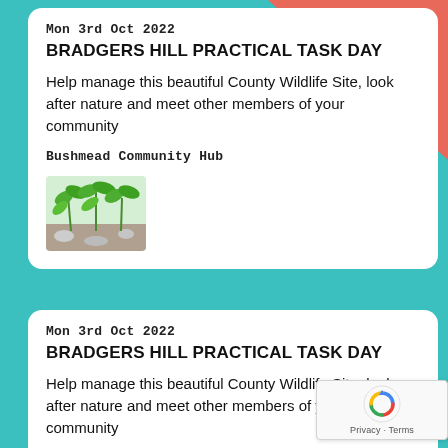Mon 3rd Oct 2022
BRADGERS HILL PRACTICAL TASK DAY
Help manage this beautiful County Wildlife Site, look after nature and meet other members of your community
Bushmead Community Hub
[Figure (photo): Close-up photo of green plant seedlings growing in soil]
Mon 3rd Oct 2022
BRADGERS HILL PRACTICAL TASK DAY
Help manage this beautiful County Wildlife Site, look after nature and meet other members of your community
Bushmead Community Hub
[Figure (photo): Partial view of green plant seedlings photo (cropped at bottom)]